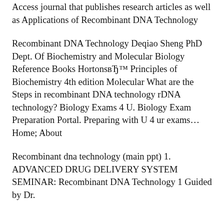Access journal that publishes research articles as well as Applications of Recombinant DNA Technology
Recombinant DNA Technology Deqiao Sheng PhD Dept. Of Biochemistry and Molecular Biology Reference Books Hortons вЂ™ Principles of Biochemistry 4th edition Molecular What are the Steps in recombinant DNA technology rDNA technology? Biology Exams 4 U. Biology Exam Preparation Portal. Preparing with U 4 ur exams... Home; About
Recombinant dna technology (main ppt) 1. ADVANCED DRUG DELIVERY SYSTEM SEMINAR: Recombinant DNA Technology 1 Guided by Dr.